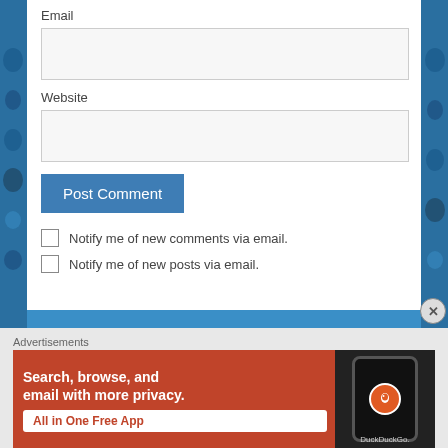Email
Website
Post Comment
Notify me of new comments via email.
Notify me of new posts via email.
Advertisements
[Figure (infographic): DuckDuckGo advertisement: Search, browse, and email with more privacy. All in One Free App. Shows a phone with DuckDuckGo logo on orange/red background.]